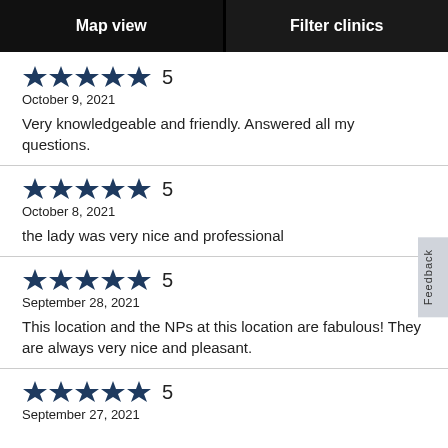Map view | Filter clinics
5 stars — October 9, 2021 — Very knowledgeable and friendly. Answered all my questions.
5 stars — October 8, 2021 — the lady was very nice and professional
5 stars — September 28, 2021 — This location and the NPs at this location are fabulous! They are always very nice and pleasant.
5 stars — September 27, 2021